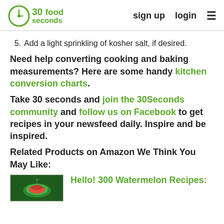30seconds food | sign up | login
5. Add a light sprinkling of kosher salt, if desired.
Need help converting cooking and baking measurements? Here are some handy kitchen conversion charts.
Take 30 seconds and join the 30Seconds community and follow us on Facebook to get recipes in your newsfeed daily. Inspire and be inspired.
Related Products on Amazon We Think You May Like:
Hello! 300 Watermelon Recipes: